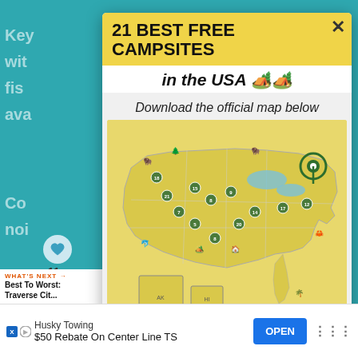21 BEST FREE CAMPSITES in the USA 🏕️
Download the official map below
[Figure (map): Map of the USA showing 21 numbered best free campsites locations, illustrated with icons for nature, camping, and wildlife on a yellow background]
21 BEST FREE CAMPSITES IN THE USA
WHAT'S NEXT → Best To Worst: Traverse Cit...
Husky Towing $50 Rebate On Center Line TS